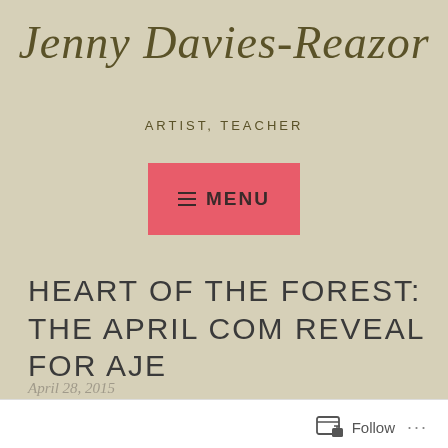Jenny Davies-Reazor
ARTIST, TEACHER
[Figure (screenshot): Pink/red rectangular menu button with hamburger icon and MENU text]
HEART OF THE FOREST: THE APRIL COM REVEAL FOR AJE
April 28, 2015
Follow ...